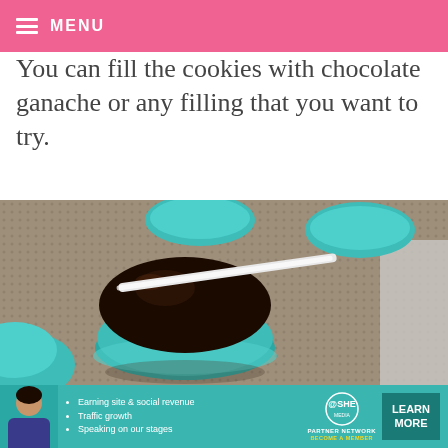≡ MENU
You can fill the cookies with chocolate ganache or any filling that you want to try.
[Figure (photo): Blue macarons on a baking mat, with chocolate ganache being spread on one using a small spatula or stick.]
[Figure (infographic): Advertisement banner for SHE Partner Network with bullet points: Earning site & social revenue, Traffic growth, Speaking on our stages. Includes LEARN MORE button and BECOME A MEMBER text.]